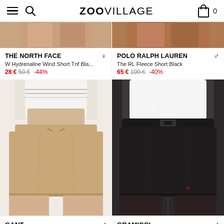ZOOVILLAGE — navigation header with hamburger menu, search icon, logo, and cart (0)
[Figure (photo): Cropped top portion of product photo for The North Face women's shorts in beige/tan]
[Figure (photo): Cropped top portion of product photo for Polo Ralph Lauren men's shorts in black/dark]
THE NORTH FACE — W Hydrenaline Wind Short Tnf Bla... — 28 € 50 € -44%
POLO RALPH LAUREN — The RL Fleece Short Black — 65 € 109 € -40%
[Figure (photo): Man wearing beige/khaki drawstring shorts (GANT product) against light background]
[Figure (photo): Man wearing black belted shorts (GRAMICCI product) against dark background]
GANT — male gender icon
GRAMICCI — male gender icon